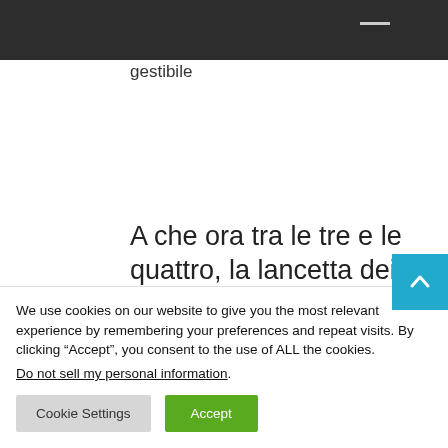gestibile
Read More
A che ora tra le tre e le quattro, la lancetta dei minuti è
We use cookies on our website to give you the most relevant experience by remembering your preferences and repeat visits. By clicking “Accept”, you consent to the use of ALL the cookies.
Do not sell my personal information.
Cookie Settings  Accept